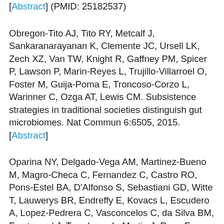[Abstract] (PMID: 25182537)
Obregon-Tito AJ, Tito RY, Metcalf J, Sankaranarayanan K, Clemente JC, Ursell LK, Zech XZ, Van TW, Knight R, Gaffney PM, Spicer P, Lawson P, Marin-Reyes L, Trujillo-Villarroel O, Foster M, Guija-Poma E, Troncoso-Corzo L, Warinner C, Ozga AT, Lewis CM. Subsistence strategies in traditional societies distinguish gut microbiomes. Nat Commun 6:6505, 2015. [Abstract]
Oparina NY, Delgado-Vega AM, Martinez-Bueno M, Magro-Checa C, Fernandez C, Castro RO, Pons-Estel BA, D'Alfonso S, Sebastiani GD, Witte T, Lauwerys BR, Endreffy E, Kovacs L, Escudero A, Lopez-Pedrera C, Vasconcelos C, da Silva BM, Frostegard J, Truedsson L, Martin J, Raya E, Ortego-Centeno N, de Los Angeles AM, de Ramon GE, Palma ML, Alarcón-Riquelmo ME, Kozyrev SV, RYK